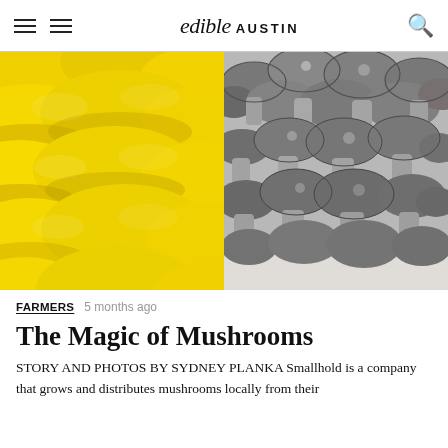edible AUSTIN
[Figure (photo): Two-panel hero image: left panel shows bright yellow oyster mushrooms clustered together in close-up; right panel shows dark gray/black clustered mushrooms (likely pioppino or similar) growing densely together.]
FARMERS  5 months ago
The Magic of Mushrooms
STORY AND PHOTOS BY SYDNEY PLANKA Smallhold is a company that grows and distributes mushrooms locally from their